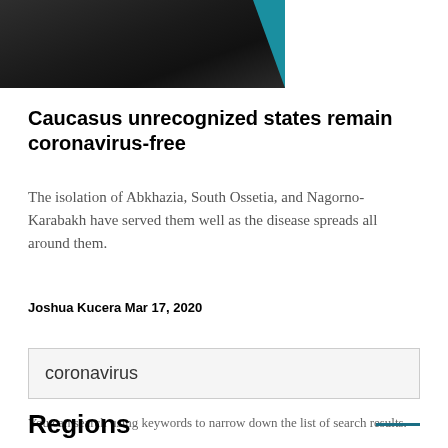[Figure (photo): Dark screenshot or video still with a teal/blue triangular accent on the right side, showing silhouettes]
Caucasus unrecognized states remain coronavirus-free
The isolation of Abkhazia, South Ossetia, and Nagorno-Karabakh have served them well as the disease spreads all around them.
Joshua Kucera Mar 17, 2020
coronavirus
You can search using keywords to narrow down the list of search results.
Regions